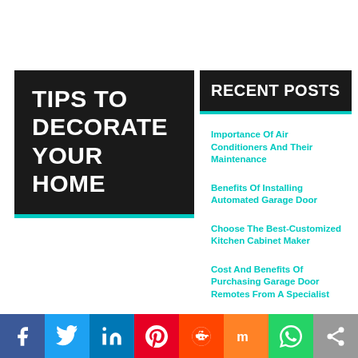TIPS TO DECORATE YOUR HOME
RECENT POSTS
Importance Of Air Conditioners And Their Maintenance
Benefits Of Installing Automated Garage Door
Choose The Best-Customized Kitchen Cabinet Maker
Cost And Benefits Of Purchasing Garage Door Remotes From A Specialist